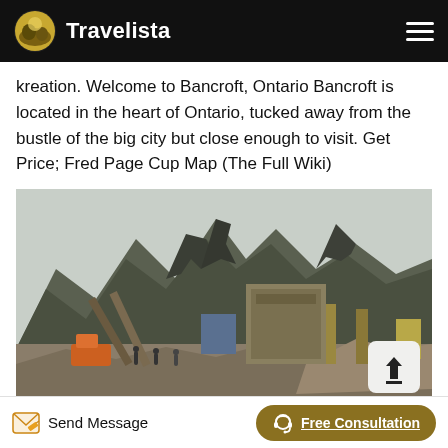Travelista
kreation. Welcome to Bancroft, Ontario Bancroft is located in the heart of Ontario, tucked away from the bustle of the big city but close enough to visit. Get Price; Fred Page Cup Map (The Full Wiki)
[Figure (photo): Mining or quarry industrial site in a mountainous area, with conveyors, heavy equipment, and rocky terrain. Steep rocky mountains with jagged peaks in the background under an overcast sky.]
Send Message
Free Consultation